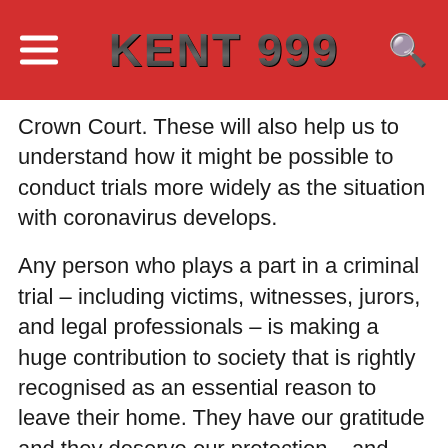KENT 999
Crown Court. These will also help us to understand how it might be possible to conduct trials more widely as the situation with coronavirus develops.
Any person who plays a part in a criminal trial – including victims, witnesses, jurors, and legal professionals – is making a huge contribution to society that is rightly recognised as an essential reason to leave their home. They have our gratitude and they deserve our protection – and measures are being put in place to support everyone who comes to court, in whatever capacity, to do so without putting themselves at unnecessary risk.
I am extremely grateful to the Lord Chief Justice, the wider judiciary, legal professions, court staff and colleagues from across the Criminal Justice